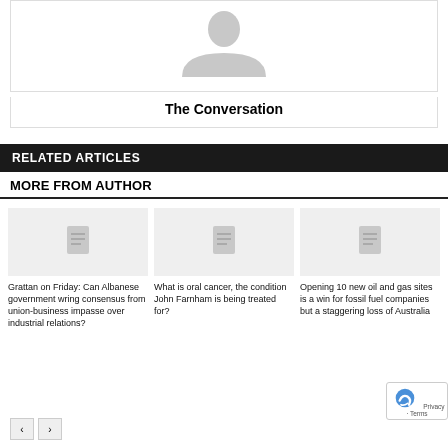[Figure (illustration): Profile avatar placeholder with gray silhouette icon on white background]
The Conversation
RELATED ARTICLES
MORE FROM AUTHOR
[Figure (photo): Gray placeholder image with document icon for article about Grattan on Friday]
Grattan on Friday: Can Albanese government wring consensus from union-business impasse over industrial relations?
[Figure (photo): Gray placeholder image with document icon for article about oral cancer]
What is oral cancer, the condition John Farnham is being treated for?
[Figure (photo): Gray placeholder image with document icon for article about oil and gas sites]
Opening 10 new oil and gas sites is a win for fossil fuel companies but a staggering loss of Australia